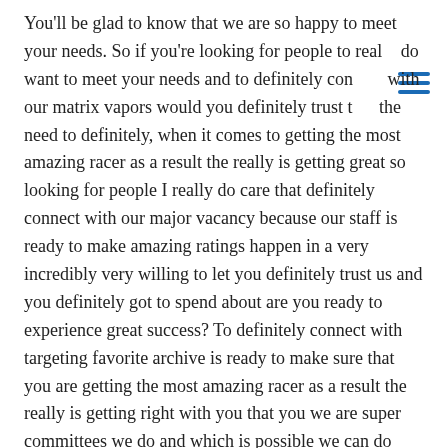You'll be glad to know that we are so happy to meet your needs. So if you're looking for people to really do want to meet your needs and to definitely connect with our matrix vapors would you definitely trust that the need to definitely, when it comes to getting the most amazing racer as a result the really is getting great so looking for people I really do care that definitely connect with our major vacancy because our staff is ready to make amazing ratings happen in a very incredibly very willing to let you definitely trust us and you definitely got to spend about are you ready to experience great success? To definitely connect with targeting favorite archive is ready to make sure that you are getting the most amazing racer as a result the really is getting right with you that you we are super committees we do and which is possible we can do which is really good and right.
We want to know that you can definitely trust us. So